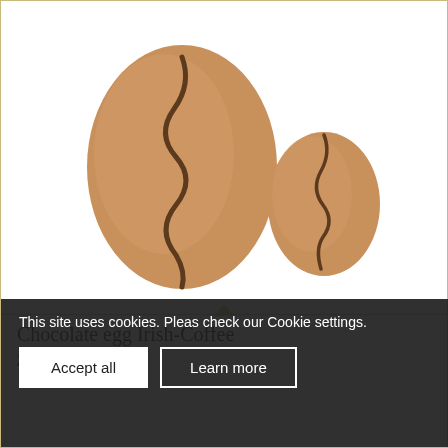[Figure (photo): Two milk chocolate eggs decorated with a dark brown zigzag/wavy line pattern. The larger egg is on the left and the smaller egg is on the right, both on a white background.]
Chocolate egg Irish-Coffee
2,10 € – 4,40 €
This site uses cookies. Pleas check our Cookie settings.
plus shipping
Accept all
Learn more